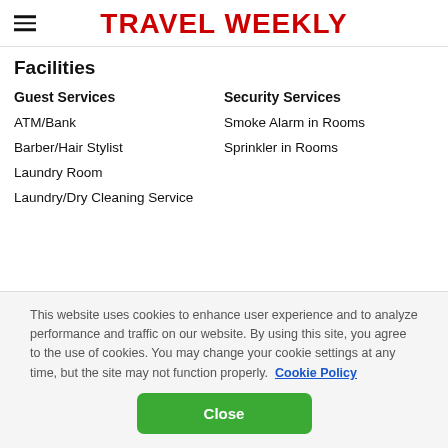TRAVEL WEEKLY
Facilities
Guest Services
ATM/Bank
Barber/Hair Stylist
Laundry Room
Laundry/Dry Cleaning Service
Security Services
Smoke Alarm in Rooms
Sprinkler in Rooms
This website uses cookies to enhance user experience and to analyze performance and traffic on our website. By using this site, you agree to the use of cookies. You may change your cookie settings at any time, but the site may not function properly. Cookie Policy
Close